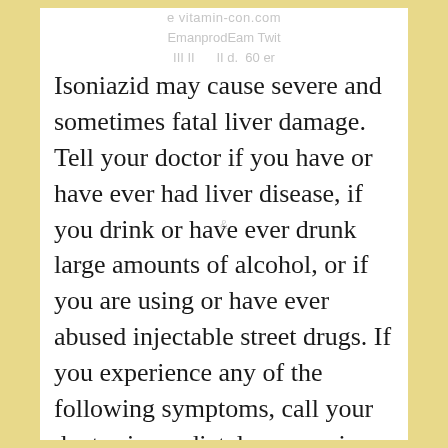Isoniazid may cause severe and sometimes fatal liver damage. Tell your doctor if you have or have ever had liver disease, if you drink or have ever drunk large amounts of alcohol, or if you are using or have ever abused injectable street drugs. If you experience any of the following symptoms, call your doctor immediately: excessive tiredness, weakness, lack of energy, loss of appetite, nausea, vomiting, dark yellow or brown urine, yellowing of the skin or eyes, pain in the upper right part of the stomach,